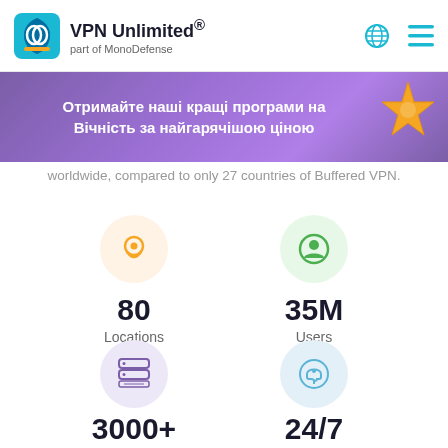[Figure (logo): VPN Unlimited logo with shield icon and text 'VPN Unlimited® part of MonoDefense']
[Figure (infographic): Purple gradient banner with Ukrainian text 'Отримайте наші кращі програми на Вічність за найгарячішою ціною' and a starfish decoration]
worldwide, compared to only 27 countries of Buffered VPN.
[Figure (infographic): Stats infographic: 80 Locations (orange pin icon), 35M Users (green person icon), 3000+ Servers (purple server icon), 24/7 Support (blue headset icon)]